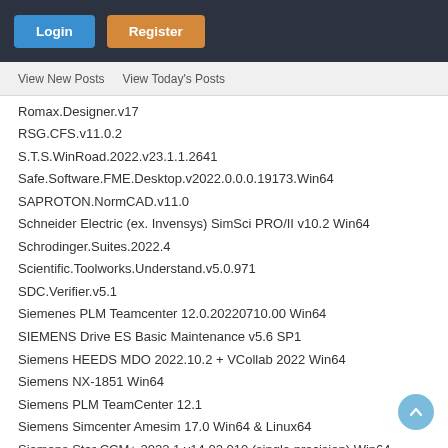Login | Register
View New Posts   View Today's Posts
Romax.Designer.v17
RSG.CFS.v11.0.2
S.T.S.WinRoad.2022.v23.1.1.2641
Safe.Software.FME.Desktop.v2022.0.0.0.19173.Win64
SAPROTON.NormCAD.v11.0
Schneider Electric (ex. Invensys) SimSci PRO/II v10.2 Win64
Schrodinger.Suites.2022.4
Scientific.Toolworks.Understand.v5.0.971
SDC.Verifier.v5.1
Siemenes PLM Teamcenter 12.0.20220710.00 Win64
SIEMENS Drive ES Basic Maintenance v5.6 SP1
Siemens HEEDS MDO 2022.10.2 + VCollab 2022 Win64
Siemens NX-1851 Win64
Siemens PLM TeamCenter 12.1
Siemens Simcenter Amesim 17.0 Win64 & Linux64
Siemens Star CCM+ 2022.1 v14.02.010 (single precision) Win64
Siemens Star CCM+ 2022.1 v14.02.010-R8 double precision Win64
Siemens.FFMAP.v12.0.1a.Win64